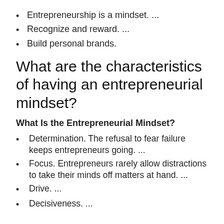Entrepreneurship is a mindset. ...
Recognize and reward. ...
Build personal brands.
What are the characteristics of having an entrepreneurial mindset?
What Is the Entrepreneurial Mindset?
Determination. The refusal to fear failure keeps entrepreneurs going. ...
Focus. Entrepreneurs rarely allow distractions to take their minds off matters at hand. ...
Drive. ...
Decisiveness. ...